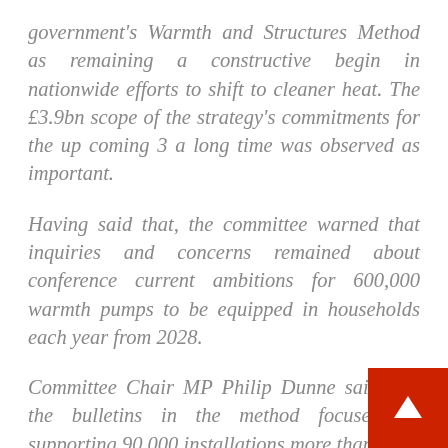government's Warmth and Structures Method as remaining a constructive begin in nationwide efforts to shift to cleaner heat. The £3.9bn scope of the strategy's commitments for the up coming 3 a long time was observed as important.
Having said that, the committee warned that inquiries and concerns remained about conference current ambitions for 600,000 warmth pumps to be equipped in households each year from 2028.
Committee Chair MP Philip Dunne said that the bulletins in the method focused on supporting 90,000 installations more than